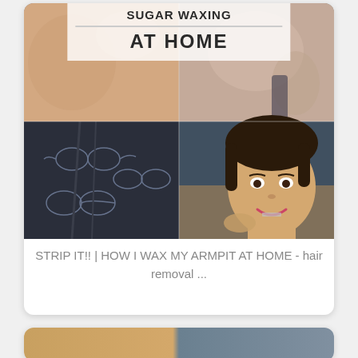[Figure (photo): Collage of armpit waxing images: top left shows underarm skin close-up, top right shows raised arm, bottom left shows dark printed fabric/clothing close-up, bottom right shows a smiling young woman touching her face/neck. Overlaid in center-top is a semi-transparent white box with text 'SUGAR WAXING' and 'AT HOME'.]
STRIP IT!! | HOW I WAX MY ARMPIT AT HOME - hair removal ...
[Figure (photo): Partial second card visible at bottom showing a cropped image.]